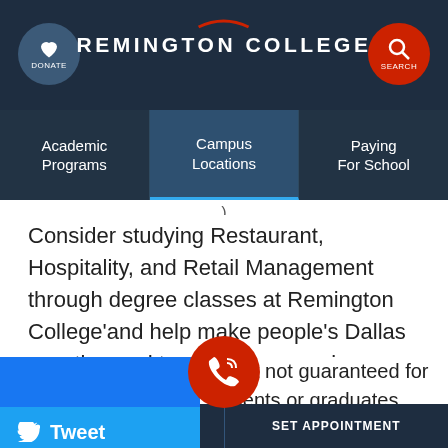REMINGTON COLLEGE
Academic Programs | Campus Locations | Paying For School
Consider studying Restaurant, Hospitality, and Retail Management through degree classes at Remington College'and help make people's Dallas vacation and travel plans amazing.
yment not guaranteed for students or graduates.
Program completion t ay vary based on
REQUEST INFO | SET APPOINTMENT